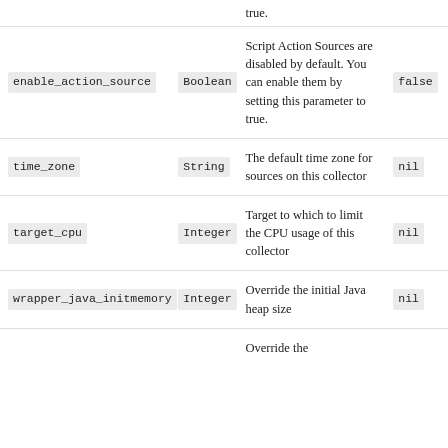| Parameter | Type | Description | Default |
| --- | --- | --- | --- |
| (continued from above) |  | true. |  |
| enable_action_source | Boolean | Script Action Sources are disabled by default. You can enable them by setting this parameter to true. | false |
| time_zone | String | The default time zone for sources on this collector | nil |
| target_cpu | Integer | Target to which to limit the CPU usage of this collector | nil |
| wrapper_java_initmemory | Integer | Override the initial Java heap size | nil |
| (continued) |  | Override the ... |  |